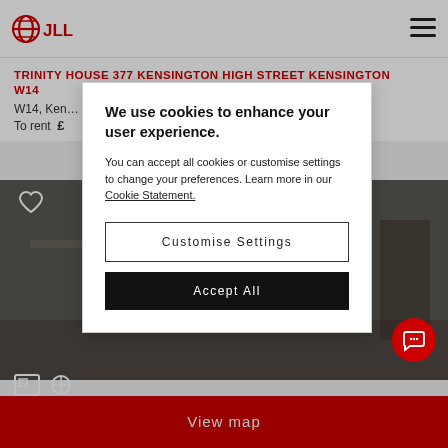[Figure (logo): JLL logo — red circular globe icon with JLL text in red]
TRINITY HOUSE 377 KENSINGTON HIGH STREET KENSINGTON W14
W14, Kensington
To rent £
[Figure (photo): Interior photo of a modern office or apartment room, dimmed behind modal overlay]
We use cookies to enhance your user experience.

You can accept all cookies or customise settings to change your preferences. Learn more in our Cookie Statement.

Customise Settings

Accept All
View map